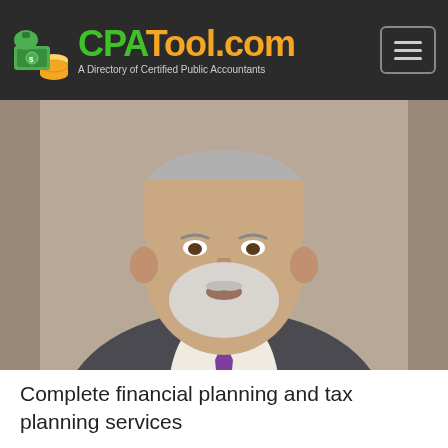CPATool.com — A Directory of Certified Public Accountants
[Figure (photo): Portrait photo of a middle-aged man with grey hair and beard, wearing a grey suit with a purple tie, against a neutral background.]
Complete financial planning and tax planning services
Highlights: Small Business Planning, Financial Planning, Professionals, Business